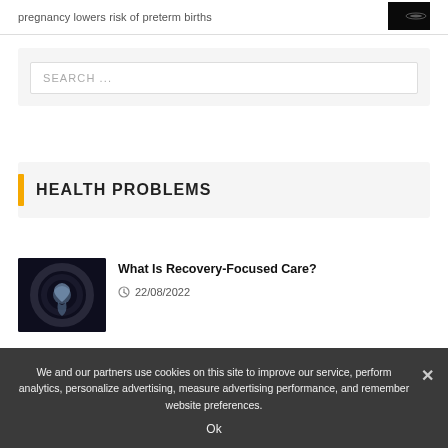pregnancy lowers risk of preterm births
[Figure (photo): Dark background image thumbnail]
SEARCH ...
HEALTH PROBLEMS
[Figure (photo): Dark swirling abstract image related to mental health]
What Is Recovery-Focused Care?
22/08/2022
We and our partners use cookies on this site to improve our service, perform analytics, personalize advertising, measure advertising performance, and remember website preferences.
Ok